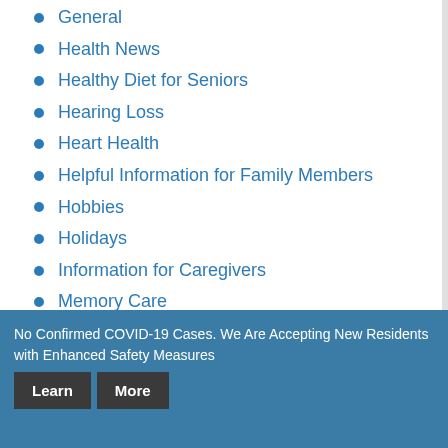General
Health News
Healthy Diet for Seniors
Hearing Loss
Heart Health
Helpful Information for Family Members
Hobbies
Holidays
Information for Caregivers
Memory Care
No Confirmed COVID-19 Cases. We Are Accepting New Residents with Enhanced Safety Measures
Learn More